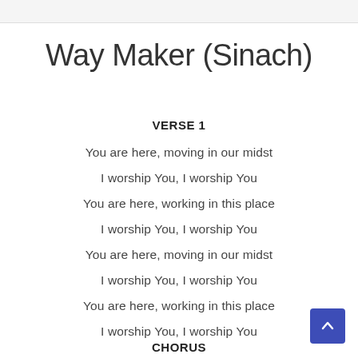Way Maker (Sinach)
VERSE 1
You are here, moving in our midst
I worship You, I worship You
You are here, working in this place
I worship You, I worship You
You are here, moving in our midst
I worship You, I worship You
You are here, working in this place
I worship You, I worship You
CHORUS